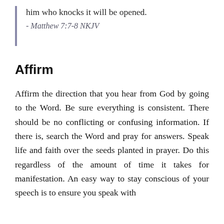him who knocks it will be opened.
- Matthew 7:7-8 NKJV
Affirm
Affirm the direction that you hear from God by going to the Word. Be sure everything is consistent. There should be no conflicting or confusing information. If there is, search the Word and pray for answers. Speak life and faith over the seeds planted in prayer. Do this regardless of the amount of time it takes for manifestation. An easy way to stay conscious of your speech is to ensure you speak with